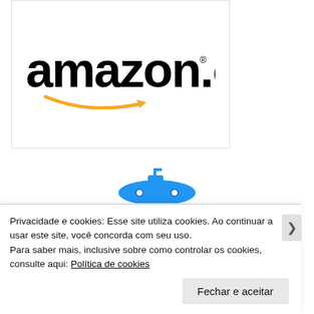[Figure (logo): Amazon.com logo with orange arrow swoosh underneath the text]
[Figure (illustration): Blue submarine illustration, partially visible at top]
Privacidade e cookies: Esse site utiliza cookies. Ao continuar a usar este site, você concorda com seu uso.
Para saber mais, inclusive sobre como controlar os cookies, consulte aqui: Política de cookies
Fechar e aceitar